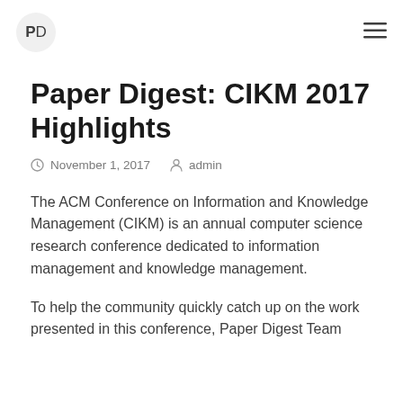PD (logo) | hamburger menu
Paper Digest: CIKM 2017 Highlights
November 1, 2017   admin
The ACM Conference on Information and Knowledge Management (CIKM) is an annual computer science research conference dedicated to information management and knowledge management.
To help the community quickly catch up on the work presented in this conference, Paper Digest Team